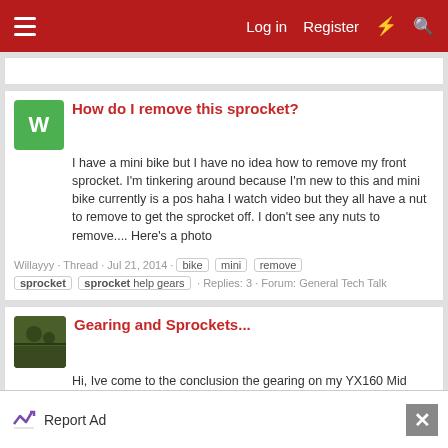Log in  Register
How do I remove this sprocket?
I have a mini bike but I have no idea how to remove my front sprocket. I'm tinkering around because I'm new to this and mini bike currently is a pos haha I watch video but they all have a nut to remove to get the sprocket off. I don't see any nuts to remove.... Here's a photo
Willayyy · Thread · Jul 21, 2014 · bike  mini  remove  sprocket  sprocket help gears · Replies: 3 · Forum: General Tech Talk
Gearing and Sprockets...
Hi, Ive come to the conclusion the gearing on my YX160 Mid Size is annoying me, so I want to know what some of you guys run with... I currently have a 16t Front and a 41t rear Im finding...
Report Ad